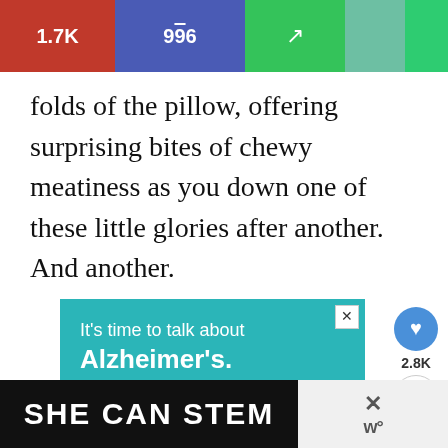[Figure (screenshot): Social sharing bar with red section showing 1.7K, blue section showing 996, green section with external link icon, teal section, and bright green section]
folds of the pillow, offering surprising bites of chewy meatiness as you down one of these little glories after another. And another.
[Figure (screenshot): Alzheimer's Association advertisement on teal background reading: It's time to talk about Alzheimer's. LEARN MORE. alz.org/ourstories. With illustration of two elderly people.]
[Figure (screenshot): SHE CAN STEM advertisement on dark background with close button and W logo on right side]